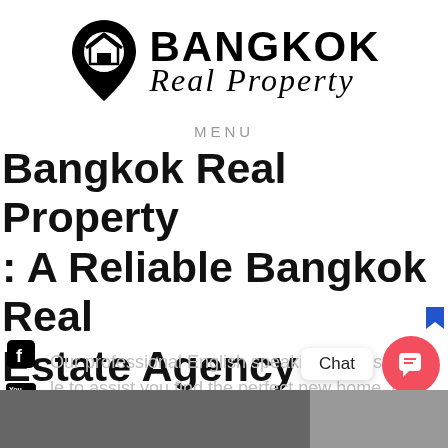[Figure (logo): Bangkok Real Property logo — map pin with house icon and text 'BANGKOK Real Property']
MENU
Bangkok Real Property : A Reliable Bangkok Real Estate Agency
Our professional English speaking agents are able to assist you find the perfect new home, be it a condo, house or apartment for rent and to buy in Bangkok.
[Figure (screenshot): Social media icons (Facebook, YouTube, Instagram, LinkedIn) on the left side, Chat button and privacy/terms at bottom right, partial interior photo at bottom.]